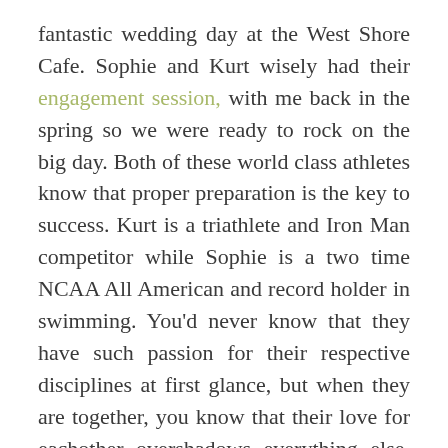fantastic wedding day at the West Shore Cafe. Sophie and Kurt wisely had their engagement session, with me back in the spring so we were ready to rock on the big day. Both of these world class athletes know that proper preparation is the key to success. Kurt is a triathlete and Iron Man competitor while Sophie is a two time NCAA All American and record holder in swimming. You'd never know that they have such passion for their respective disciplines at first glance, but when they are together, you know that their love for eachother overshadows everything else. Congrats Sophie and Kurt! Scroll to view the many highlights from their day.